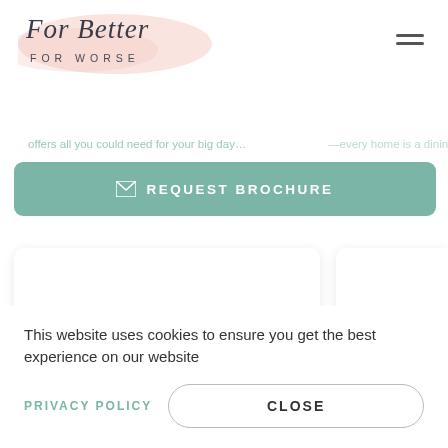For Better FOR WORSE
offers all you could need for your big day...
REQUEST BROCHURE
[Figure (screenshot): Two venue listing cards with VIEW VENUE buttons on a white background]
Looking for something
This website uses cookies to ensure you get the best experience on our website
PRIVACY POLICY
CLOSE